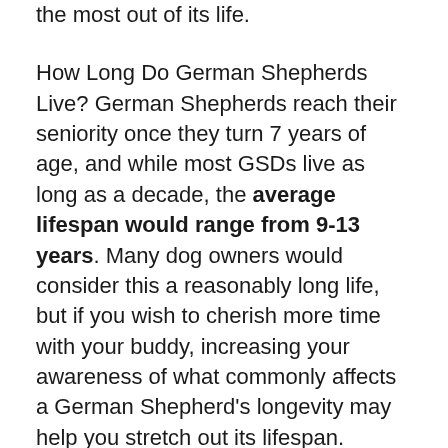the most out of its life.
How Long Do German Shepherds Live? German Shepherds reach their seniority once they turn 7 years of age, and while most GSDs live as long as a decade, the average lifespan would range from 9-13 years. Many dog owners would consider this a reasonably long life, but if you wish to cherish more time with your buddy, increasing your awareness of what commonly affects a German Shepherd's longevity may help you stretch out its lifespan.